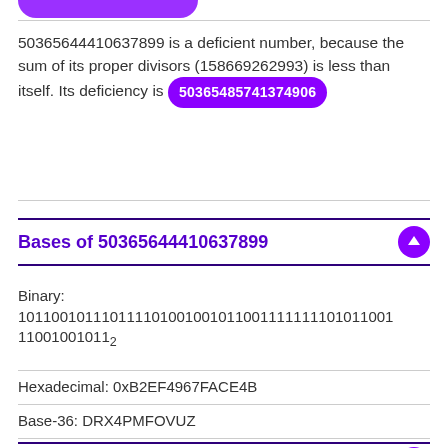[Figure (other): Partial purple pill/button cropped at top of page]
50365644410637899 is a deficient number, because the sum of its proper divisors (158669262993) is less than itself. Its deficiency is 50365485741374906
Bases of 50365644410637899
Binary: 101100101110111101001001011001111111101011001 11001001011₂
Hexadecimal: 0xB2EF4967FACE4B
Base-36: DRX4PMFOVUZ
Squares and roots of 50365644410637899